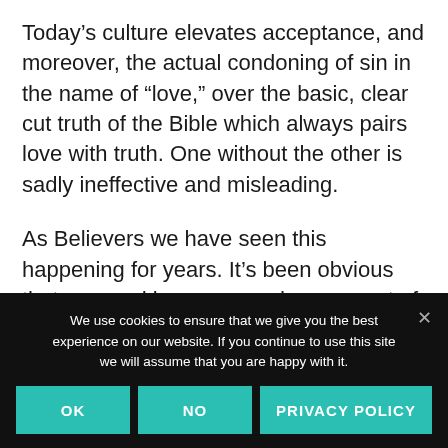Today's culture elevates acceptance, and moreover, the actual condoning of sin in the name of “love,” over the basic, clear cut truth of the Bible which always pairs love with truth. One without the other is sadly ineffective and misleading.
As Believers we have seen this happening for years. It’s been obvious that our road is narrow and we are not of this world, but
We use cookies to ensure that we give you the best experience on our website. If you continue to use this site we will assume that you are happy with it.